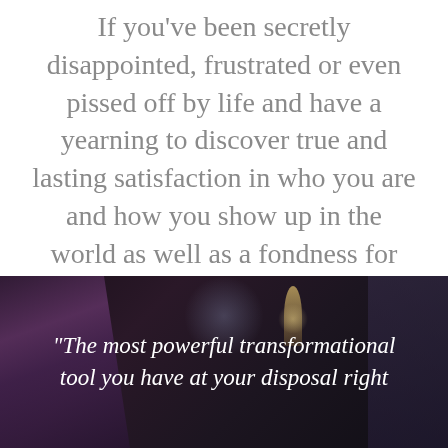If you've been secretly disappointed, frustrated or even pissed off by life and have a yearning to discover true and lasting satisfaction in who you are and how you show up in the world as well as a fondness for magic and transformation, I'm so pleased to meet you.
[Figure (photo): Dark atmospheric photo with crystals, candle and smoke in background, with italic white quote text overlay]
“The most powerful transformational tool you have at your disposal right